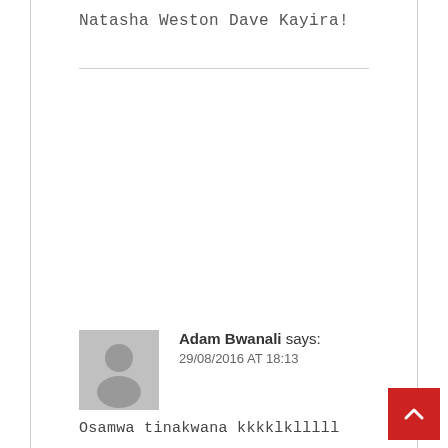Natasha Weston Dave Kayira!
Adam Bwanali says:
29/08/2016 AT 18:13
Osamwa tinakwana kkkklklllll